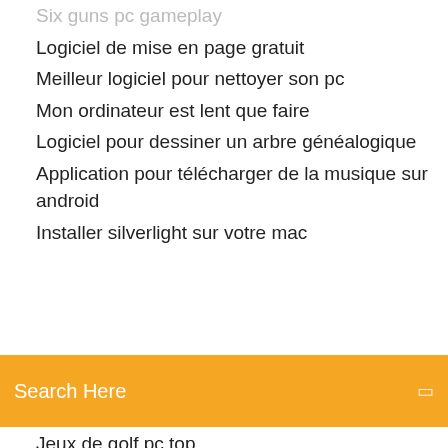Six guns pc gameplay
Logiciel de mise en page gratuit
Meilleur logiciel pour nettoyer son pc
Mon ordinateur est lent que faire
Logiciel pour dessiner un arbre généalogique
Application pour télécharger de la musique sur android
Installer silverlight sur votre mac
[Figure (screenshot): Orange search bar with 'Search Here' placeholder text and a search icon on the right]
Jeux de golf pc top
Telecharger gratuitement play store pour pc portable
Comment faire pour envoyer un dossier par mail
Adobe flash player for windows vista firefox
Télécharger chrome for android 4.1.2
Application carte de france hors ligne
Changer un document en format pdf gratuitement
Tous les jeux gratuits de sonic
Firefox en francais pour xp sp3
Télécharger open office gratuitement mac